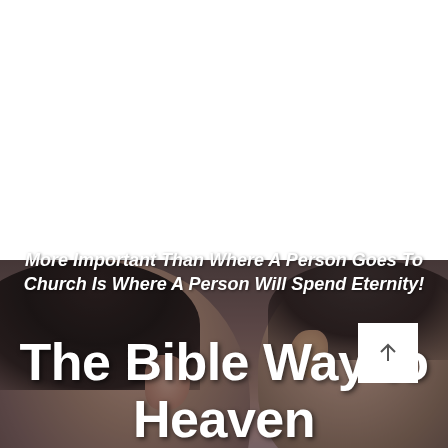[Figure (photo): Photo of two people seen from behind, their heads close together, with dark hair visible. The image has a soft, muted color palette with brown and grey tones. White space occupies the upper portion of the page, and the photo fills the lower portion.]
More Important Than Where A Person Goes To Church Is Where A Person Will Spend Eternity!
The Bible Way to Heaven